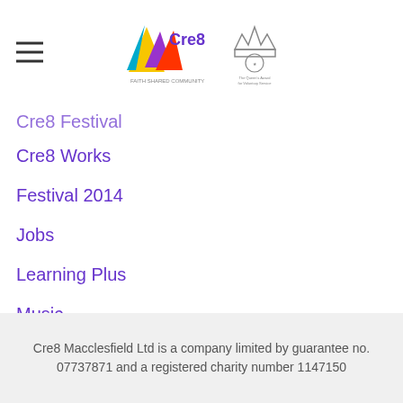[Figure (logo): Cre8 logo with colourful geometric shapes and text, alongside The Queen's Award for Voluntary Service logo]
Cre8 Festival (partially visible)
Cre8 Works
Festival 2014
Jobs
Learning Plus
Music
Offbeat
Residentials
The Building
Youth Music
Cre8 Macclesfield Ltd is a company limited by guarantee no. 07737871 and a registered charity number 1147150